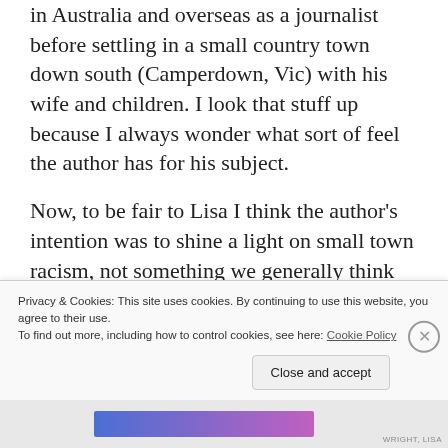in Australia and overseas as a journalist before settling in a small country town down south (Camperdown, Vic) with his wife and children. I look that stuff up because I always wonder what sort of feel the author has for his subject.
Now, to be fair to Lisa I think the author’s intention was to shine a light on small town racism, not something we generally think about in Victoria. And that he was just totally ham-fisted about it. There’s an Indigenous family, the Stirlings, – who might “pass for
Privacy & Cookies: This site uses cookies. By continuing to use this website, you agree to their use.
To find out more, including how to control cookies, see here: Cookie Policy
Close and accept